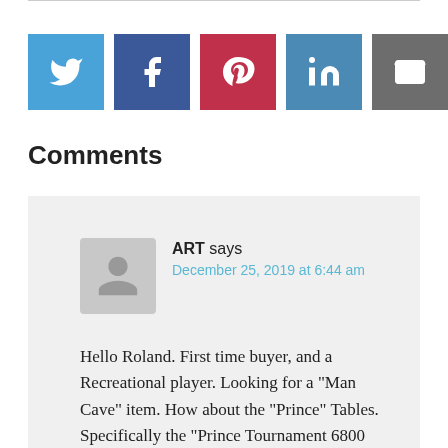[Figure (infographic): Social media share buttons: Twitter (blue), Facebook (dark blue), Pinterest (red), LinkedIn (steel blue), Email (gray)]
Comments
ART says
December 25, 2019 at 6:44 am

Hello Roland. First time buyer, and a Recreational player. Looking for a "Man Cave" item. How about the "Prince" Tables. Specifically the "Prince Tournament 6800 Indoor